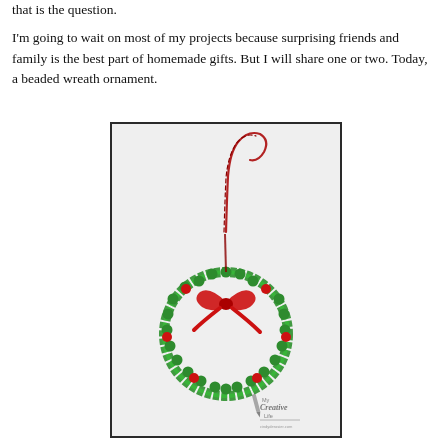that is the question.
I'm going to wait on most of my projects because surprising friends and family is the best part of homemade gifts. But I will share one or two. Today, a beaded wreath ornament.
[Figure (photo): A handmade beaded wreath Christmas ornament made of green beads with red accent beads, tied with a red ribbon bow, and hung by a twisted red wire hook. The ornament is displayed on a white background. A 'My Creative Life' logo/watermark is visible in the lower right corner.]